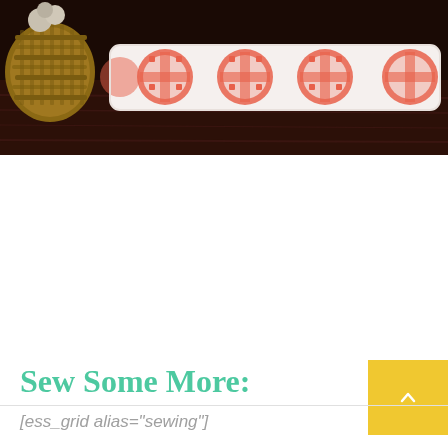[Figure (photo): Photo of a decorative pillow with coral/orange circular geometric pattern on white fabric, resting on a dark wood surface. A wicker basket is visible on the left side.]
Sew Some More:
[ess_grid alias="sewing"]